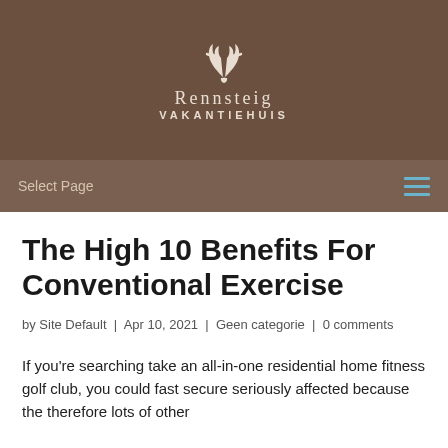[Figure (logo): Rennsteig Vakantiehuis logo with antlers icon on dark brown background]
Select Page
The High 10 Benefits For Conventional Exercise
by Site Default | Apr 10, 2021 | Geen categorie | 0 comments
If you're searching take an all-in-one residential home fitness golf club, you could fast secure seriously affected because the therefore lots of other